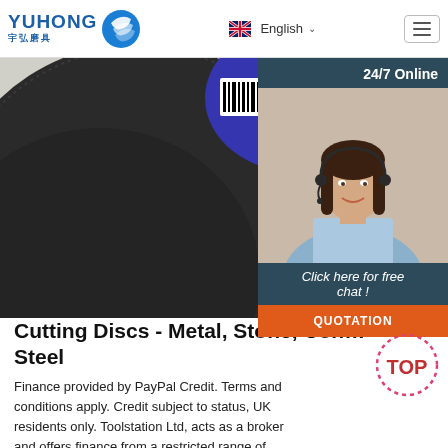[Figure (logo): Yuhong logo with blue wave icon, text YUHONG in blue and Chinese characters 宇弘磨具]
English
[Figure (photo): Close-up of a black cutting disc with blue center label and barcode, partially cropped]
[Figure (photo): 24/7 Online chat widget showing a woman with headset, dark teal background, with Click here for free chat! text and QUOTATION button]
Cutting Discs - Metal, Stone, Con… Steel
Finance provided by PayPal Credit. Terms and conditions apply. Credit subject to status, UK residents only. Toolstation Ltd, acts as a broker and offers finance from a restricted range of finance providers, PayPal Credit is a trading name of PayPal (Europe) S.à.r.l et …
[Figure (illustration): TOP badge with dotted circle border in red/pink]
Get Price